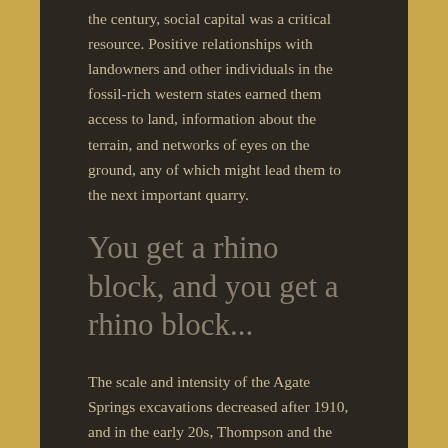the century, social capital was a critical resource. Positive relationships with landowners and other individuals in the fossil-rich western states earned them access to land, information about the terrain, and networks of eyes on the ground, any of which might lead them to the next important quarry.
You get a rhino block, and you get a rhino block...
The scale and intensity of the Agate Springs excavations decreased after 1910, and in the early 20s, Thompson and the AMNH crew closed up shop, believing they had found examples of every species that could be found. By that time, the site's